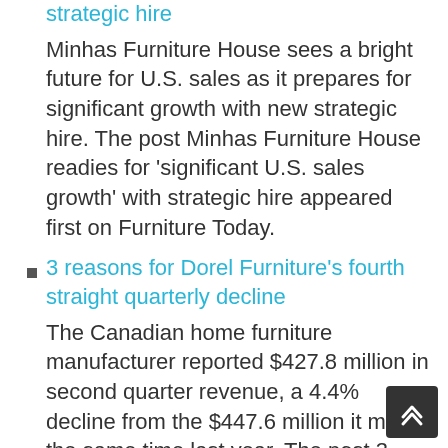strategic hire
Minhas Furniture House sees a bright future for U.S. sales as it prepares for significant growth with new strategic hire. The post Minhas Furniture House readies for 'significant U.S. sales growth' with strategic hire appeared first on Furniture Today.
3 reasons for Dorel Furniture's fourth straight quarterly decline
The Canadian home furniture manufacturer reported $427.8 million in second quarter revenue, a 4.4% decline from the $447.6 million it made the same time last year. The post 3 reasons for Dorel Furniture's fourth straight quarterly decline appeared first on Furniture Today.